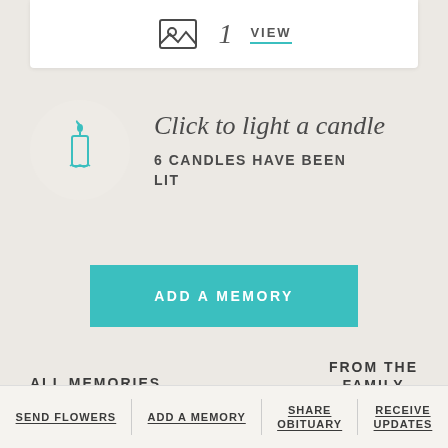[Figure (illustration): Partial white card at top showing a photo/image icon, number 1, and VIEW link with teal underline]
Click to light a candle
6 CANDLES HAVE BEEN LIT
ADD A MEMORY
ALL MEMORIES
FROM THE FAMILY
SEND FLOWERS | ADD A MEMORY | SHARE OBITUARY | RECEIVE UPDATES